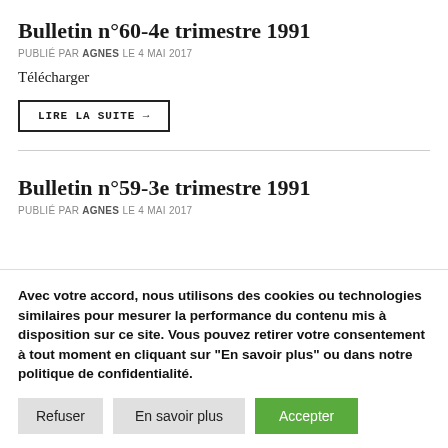Bulletin n°60-4e trimestre 1991
PUBLIÉ PAR AGNES LE 4 MAI 2017
Télécharger
LIRE LA SUITE →
Bulletin n°59-3e trimestre 1991
PUBLIÉ PAR AGNES LE 4 MAI 2017
Avec votre accord, nous utilisons des cookies ou technologies similaires pour mesurer la performance du contenu mis à disposition sur ce site. Vous pouvez retirer votre consentement à tout moment en cliquant sur "En savoir plus" ou dans notre politique de confidentialité.
Refuser
En savoir plus
Accepter